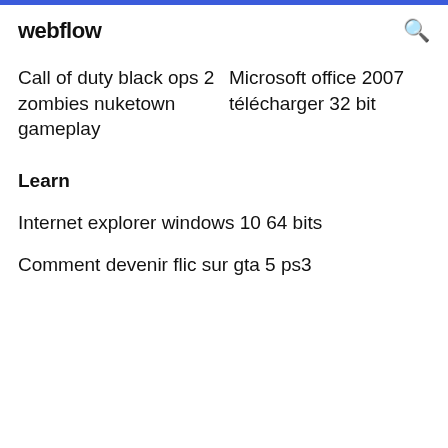webflow
Call of duty black ops 2 zombies nuketown gameplay
Microsoft office 2007 télécharger 32 bit
Learn
Internet explorer windows 10 64 bits
Comment devenir flic sur gta 5 ps3